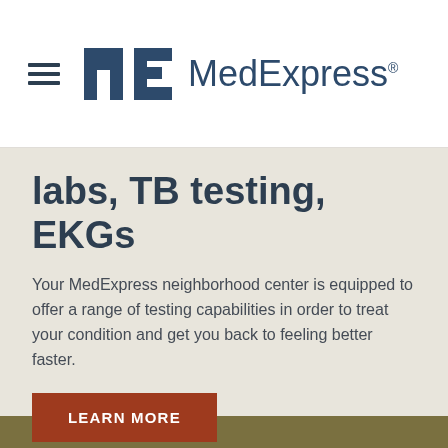MedExpress
labs, TB testing, EKGs
Your MedExpress neighborhood center is equipped to offer a range of testing capabilities in order to treat your condition and get you back to feeling better faster.
LEARN MORE